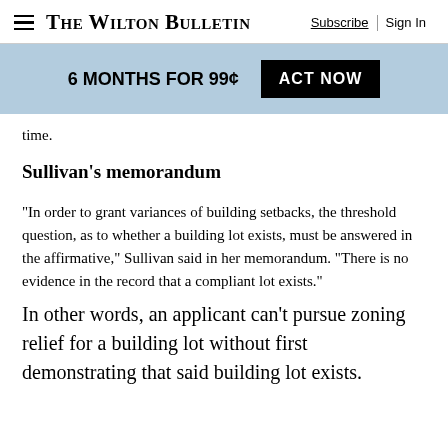The Wilton Bulletin  Subscribe  Sign In
[Figure (infographic): Blue promotional banner with text '6 MONTHS FOR 99¢' and a black 'ACT NOW' button]
time.
Sullivan's memorandum
“In order to grant variances of building setbacks, the threshold question, as to whether a building lot exists, must be answered in the affirmative,” Sullivan said in her memorandum. “There is no evidence in the record that a compliant lot exists.”
In other words, an applicant can’t pursue zoning relief for a building lot without first demonstrating that said building lot exists.